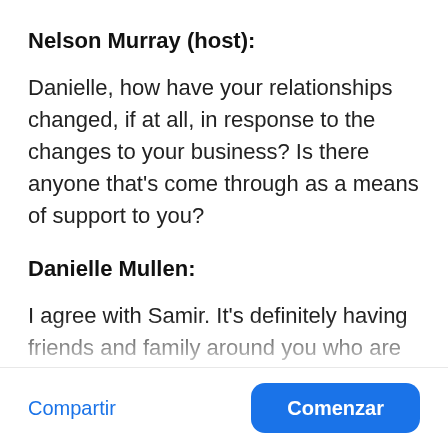Nelson Murray (host):
Danielle, how have your relationships changed, if at all, in response to the changes to your business? Is there anyone that's come through as a means of support to you?
Danielle Mullen:
I agree with Samir. It's definitely having friends and family around you who are
Compartir
Comenzar